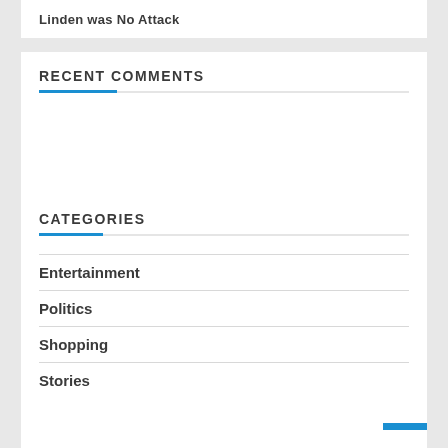Linden was No Attack
RECENT COMMENTS
CATEGORIES
Entertainment
Politics
Shopping
Stories